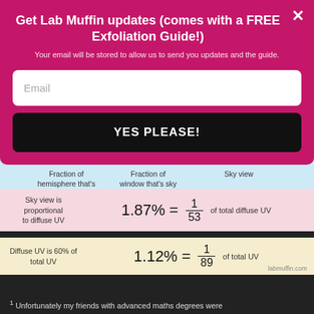Get Lab Muffin updates (comes with a FREE Exfoliation Guide!)
Your email will be stored to allow us to send you updates and the guide.
[Figure (infographic): Email signup form with 'Email' text input and 'YES PLEASE!' button on pink/magenta background]
[Figure (infographic): Calculation row: 17% x 11% = 1.87% with labels: Fraction of hemisphere that's window, Fraction of window that's sky, Sky view]
Sky view is proportional to diffuse UV
Diffuse UV is 60% of total UV
labmuffin.com
1 Unfortunately my friends with advanced maths degrees were